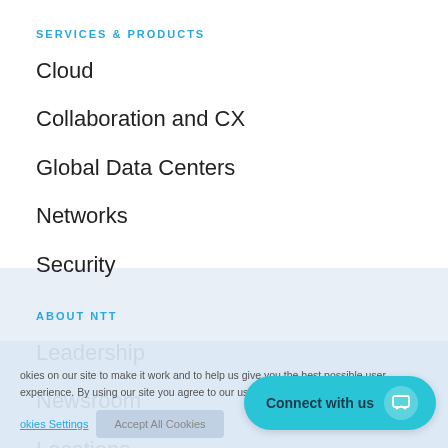SERVICES & PRODUCTS
Cloud
Collaboration and CX
Global Data Centers
Networks
Security
ABOUT NTT
Leadership
Newsroom
Locations
Our partners
Sustainability
okies on our site to make it work and to help us give you the best possible user experience. By using our site you agree to our use of cookies. Cookies Statement
okies Settings | Accept All Cookies
Connect with us